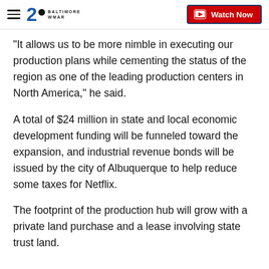ABC2 Baltimore WMAR | Watch Now
“It allows us to be more nimble in executing our production plans while cementing the status of the region as one of the leading production centers in North America,” he said.
A total of $24 million in state and local economic development funding will be funneled toward the expansion, and industrial revenue bonds will be issued by the city of Albuquerque to help reduce some taxes for Netflix.
The footprint of the production hub will grow with a private land purchase and a lease involving state trust land.